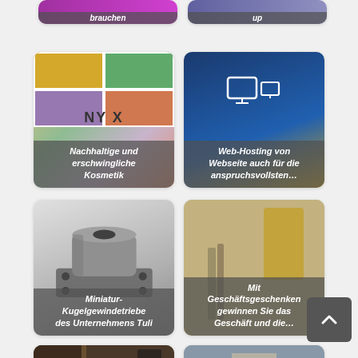[Figure (screenshot): Partial card top left - purple background with German text 'brauchen']
[Figure (screenshot): Partial card top right - dark background with text 'up']
[Figure (photo): NYX cosmetics palette with colored squares (yellow, green, purple, salmon), caption: Nachhaltige und erschwingliche Kosmetik]
[Figure (screenshot): Web hosting image with monitor icons on dark blue background, caption: Web-Hosting von Webseite auch für die anspruchsvollsten...]
[Figure (photo): Metal miniature ball screw / cylindrical machine part on white background, caption: Miniatur-Kugelgewindetriebe des Unternehmens Tuli]
[Figure (photo): Close-up of pen and yellow notepad/object on blurred background, caption: Mit Geschäftsgeschenken gewinnen Sie das Geschäft und die...]
[Figure (photo): Partial view of door/entrance with warm lighting]
[Figure (photo): Partial view of blonde woman]